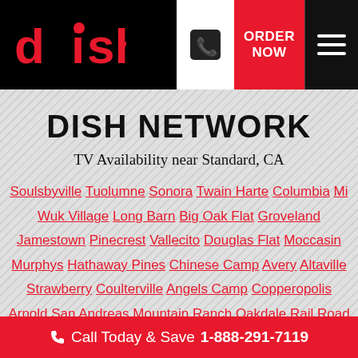DISH — ORDER NOW — Call menu
DISH NETWORK
TV Availability near Standard, CA
Soulsbyville Tuolumne Sonora Twain Harte Columbia Mi Wuk Village Long Barn Big Oak Flat Groveland Jamestown Pinecrest Vallecito Douglas Flat Moccasin Murphys Hathaway Pines Chinese Camp Avery Altaville Strawberry Coulterville Angels Camp Copperopolis Arnold San Andreas Mountain Ranch Oakdale Rail Road Flat La Grange
Call Today & Save 1-888-291-7119